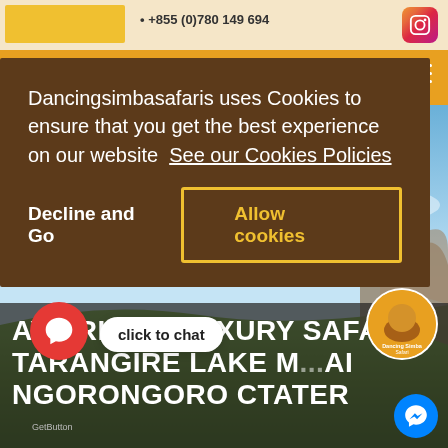+855 (0)780 149 694
[Figure (screenshot): Cookie consent overlay on Dancingsimbasafaris website with dark brown background, cookie message text, 'See our Cookies Policies' link, 'Decline and Go' button, and 'Allow cookies' button with yellow border]
Dancingsimbasafaris uses Cookies to ensure that you get the best experience on our website  See our Cookies Policies
Decline and Go
Allow cookies
AYS RHINO LUXURY SAFARI TARANGIRE LAKE M... AI NGORONGORO CTATER
[Figure (photo): Safari landscape scenic background with blue sky and African terrain with vegetation]
click to chat